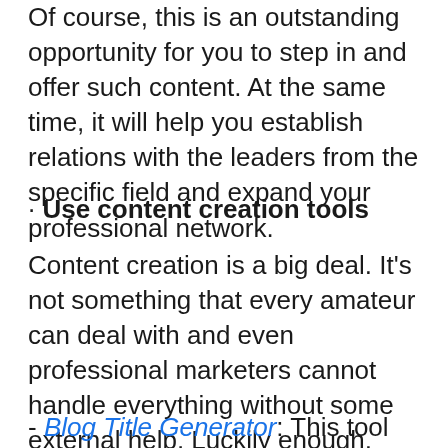Of course, this is an outstanding opportunity for you to step in and offer such content. At the same time, it will help you establish relations with the leaders from the specific field and expand your professional network.
· Use content creation tools
Content creation is a big deal. It's not something that every amateur can deal with and even professional marketers cannot handle everything without some external help. Luckily enough, there is a lot of valuable content creation tools that can assist you.
- Blog Title Generator: This tool can help you